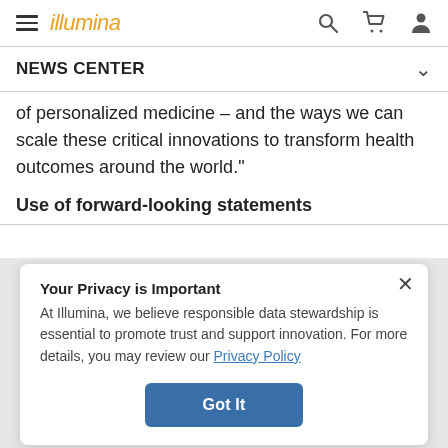illumina
NEWS CENTER
of personalized medicine – and the ways we can scale these critical innovations to transform health outcomes around the world."
Use of forward-looking statements
Your Privacy is Important
At Illumina, we believe responsible data stewardship is essential to promote trust and support innovation. For more details, you may review our Privacy Policy
Got It